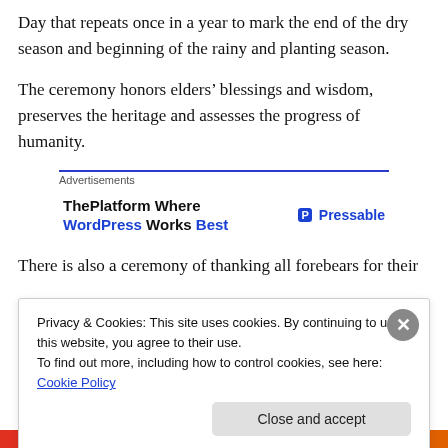Day that repeats once in a year to mark the end of the dry season and beginning of the rainy and planting season.
The ceremony honors elders’ blessings and wisdom, preserves the heritage and assesses the progress of humanity.
[Figure (other): Advertisement banner: ThePlatform Where WordPress Works Best | Pressable]
There is also a ceremony of thanking all forebears for their
Privacy & Cookies: This site uses cookies. By continuing to use this website, you agree to their use.
To find out more, including how to control cookies, see here: Cookie Policy
Close and accept